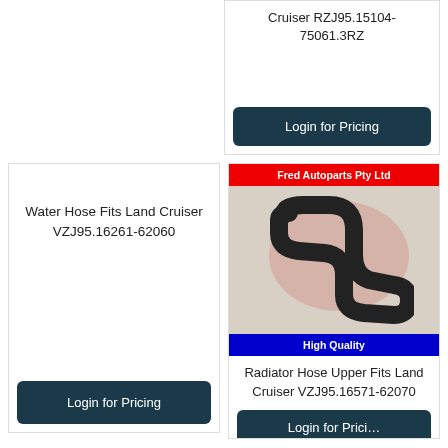Cruiser RZJ95.15104-75061.3RZ
Login for Pricing
Water Hose Fits Land Cruiser VZJ95.16261-62060
Login for Pricing
[Figure (photo): Product photo of a black curved radiator hose, displayed with Fred Autoparts Pty Ltd branding (red header bar, blue High Quality footer bar). Logo watermark visible on background.]
Radiator Hose Upper Fits Land Cruiser VZJ95.16571-62070
Login for Pricing